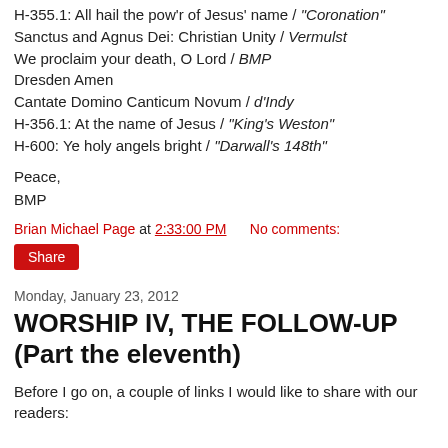H-355.1: All hail the pow'r of Jesus' name / "Coronation"
Sanctus and Agnus Dei: Christian Unity / Vermulst
We proclaim your death, O Lord / BMP
Dresden Amen
Cantate Domino Canticum Novum / d'Indy
H-356.1: At the name of Jesus / "King's Weston"
H-600: Ye holy angels bright / "Darwall's 148th"
Peace,
BMP
Brian Michael Page at 2:33:00 PM    No comments:
Share
Monday, January 23, 2012
WORSHIP IV, THE FOLLOW-UP (Part the eleventh)
Before I go on, a couple of links I would like to share with our readers: